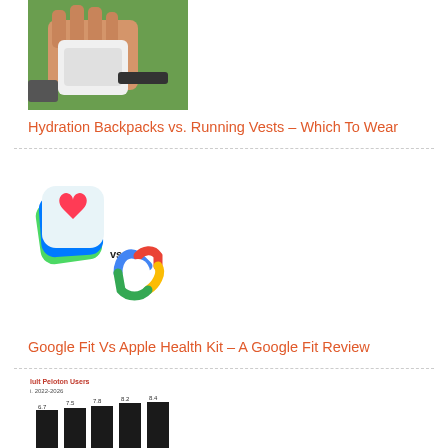[Figure (photo): Hand holding a white hydration device with green grass background]
Hydration Backpacks vs. Running Vests – Which To Wear
[Figure (illustration): Apple Health Kit logo (layered colorful squares with red heart) vs Google Fit logo (colorful heart shape)]
Google Fit Vs Apple Health Kit – A Google Fit Review
[Figure (bar-chart): Partial bar chart showing Peloton Users data 2022-2026 with values 6.7, 7.5, 7.8, 8.2, 8.4]